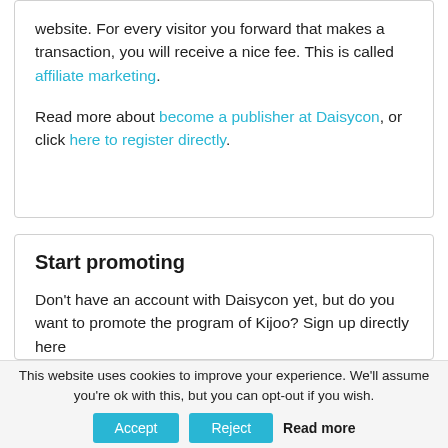website. For every visitor you forward that makes a transaction, you will receive a nice fee. This is called affiliate marketing.
Read more about become a publisher at Daisycon, or click here to register directly.
Start promoting
Don't have an account with Daisycon yet, but do you want to promote the program of Kijoo? Sign up directly here
This website uses cookies to improve your experience. We'll assume you're ok with this, but you can opt-out if you wish.